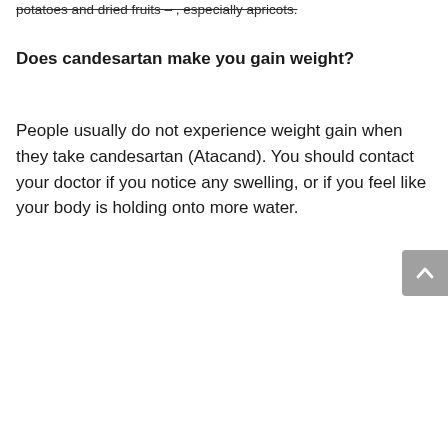potatoes and dried fruits – , especially apricots.
Does candesartan make you gain weight?
People usually do not experience weight gain when they take candesartan (Atacand). You should contact your doctor if you notice any swelling, or if you feel like your body is holding onto more water.